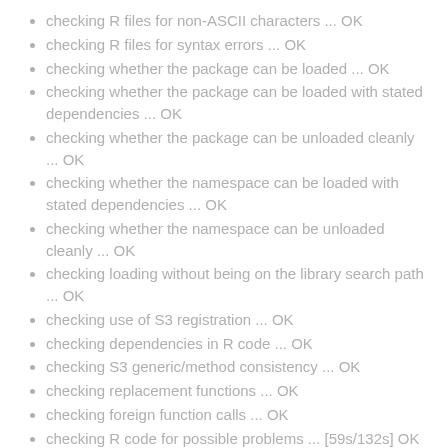checking R files for non-ASCII characters ... OK
checking R files for syntax errors ... OK
checking whether the package can be loaded ... OK
checking whether the package can be loaded with stated dependencies ... OK
checking whether the package can be unloaded cleanly ... OK
checking whether the namespace can be loaded with stated dependencies ... OK
checking whether the namespace can be unloaded cleanly ... OK
checking loading without being on the library search path ... OK
checking use of S3 registration ... OK
checking dependencies in R code ... OK
checking S3 generic/method consistency ... OK
checking replacement functions ... OK
checking foreign function calls ... OK
checking R code for possible problems ... [59s/132s] OK
checking Rd files ... OK
checking Rd metadata ... OK
checking Rd line widths ... OK
checking Rd cross-references ... OK
checking for missing documentation entries ... OK
checking for code/documentation mismatches ... OK